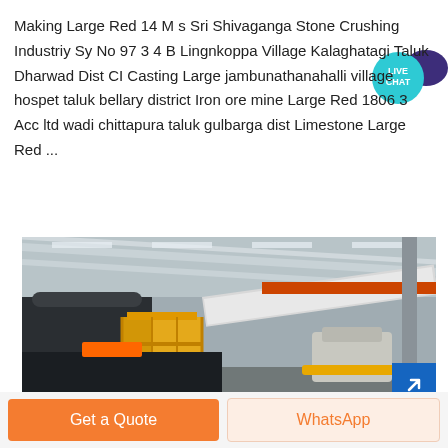Making Large Red 14 M s Sri Shivaganga Stone Crushing Industriy Sy No 97 3 4 B Lingnkoppa Village Kalaghatagi Taluk Dharwad Dist CI Casting Large jambunathanahalli village hospet taluk bellary district Iron ore mine Large Red 1806 3 Acc ltd wadi chittapura taluk gulbarga dist Limestone Large Red ...
[Figure (photo): Industrial stone crushing plant interior showing large machinery, conveyor belts, yellow scaffolding, high ceiling with metal roof structure, and orange overhead crane.]